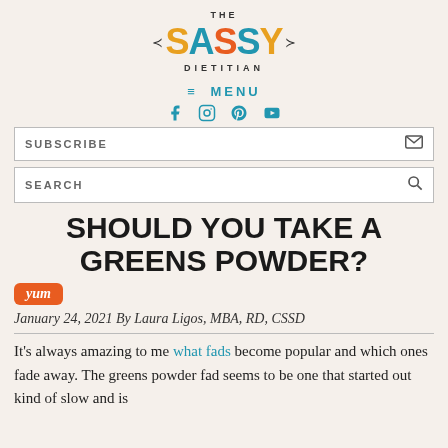[Figure (logo): The Sassy Dietitian logo with colorful letters and decorative arrows]
≡ MENU
[Figure (other): Social media icons: Facebook, Instagram, Pinterest, YouTube]
SUBSCRIBE
SEARCH
SHOULD YOU TAKE A GREENS POWDER?
Yum
January 24, 2021 By Laura Ligos, MBA, RD, CSSD
It's always amazing to me what fads become popular and which ones fade away. The greens powder fad seems to be one that started out kind of slow and is